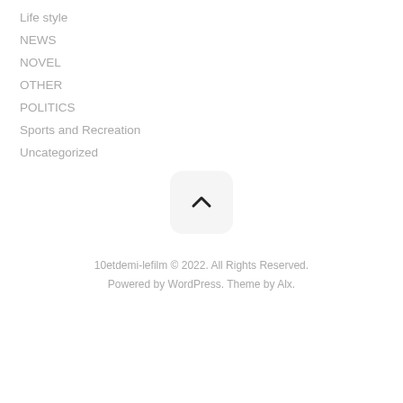Life style
NEWS
NOVEL
OTHER
POLITICS
Sports and Recreation
Uncategorized
[Figure (other): Back to top button — rounded square button with an upward chevron arrow]
10etdemi-lefilm © 2022. All Rights Reserved. Powered by WordPress. Theme by Alx.